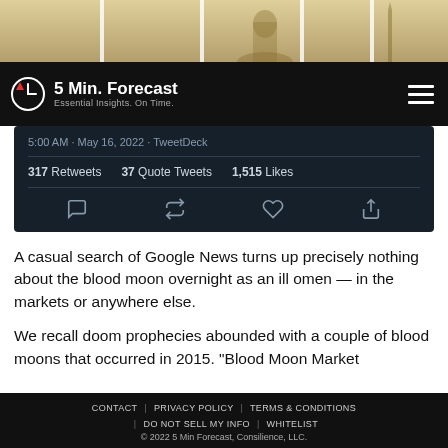[Figure (photo): Banner image showing a city skyline with a capitol dome, golden/sepia tone with white vertical column dividers]
5 Min. Forecast — Essential Insights. On Time.
[Figure (screenshot): Twitter/TweetDeck screenshot showing tweet metadata: 5:00 AM · May 16, 2022 · TweetDeck. 317 Retweets  37 Quote Tweets  1,515 Likes. Reply, Retweet, Like, Share icons.]
A casual search of Google News turns up precisely nothing about the blood moon overnight as an ill omen — in the markets or anywhere else.
We recall doom prophecies abounded with a couple of blood moons that occurred in 2015. "Blood Moon Market
CONTACT  |  PRIVACY POLICY  |  TERMS & CONDITIONS  |  DO NOT SELL MY INFO  |  WHITELIST  © 2022 5 Min Forecast, Consilience, LLC.